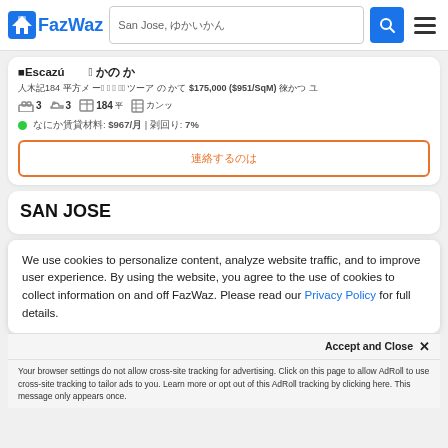FazWaz — San Jose, [search bar]
Escazú — 3 [bedroom condo]
[listing details] 184 [sqm] 3 [bed] 3 [bath] ... $175,000 ($951/SqM) [for sale]
3 [beds] 3 [baths] 184 [sqm] [condo type]
[rental income]: $967/[mo] | [yield]: 7%
[contact button]
SAN JOSE
We use cookies to personalize content, analyze website traffic, and to improve user experience. By using the website, you agree to the use of cookies to collect information on and off FazWaz. Please read our Privacy Policy for full details.
Accept and Close ×
Your browser settings do not allow cross-site tracking for advertising. Click on this page to allow AdRoll to use cross-site tracking to tailor ads to you. Learn more or opt out of this AdRoll tracking by clicking here. This message only appears once.